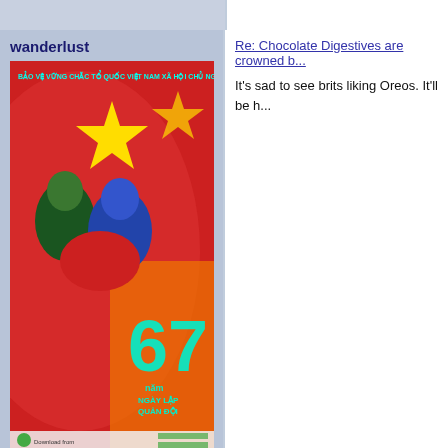wanderlust
[Figure (photo): Vietnamese propaganda poster showing soldiers with red background and yellow star flag, text reads 'BAO VE VUNG CHAC TO QUOC VIET NAM XA HOI CHU NGH...' with '67' visible]
Nat Lofthouse
[Figure (photo): Profile photo of a man with short hair]
Posts : 22089
Join date : 2012-01-12
Re: Chocolate Digestives are crowned b...
It's sad to see brits liking Oreos. It'll be h...
karlypants
Re: Chocolate Digestives are crowned b...
[Figure (photo): Close up image of a chocolate biscuit/cookie package]
wanderlust wrote: